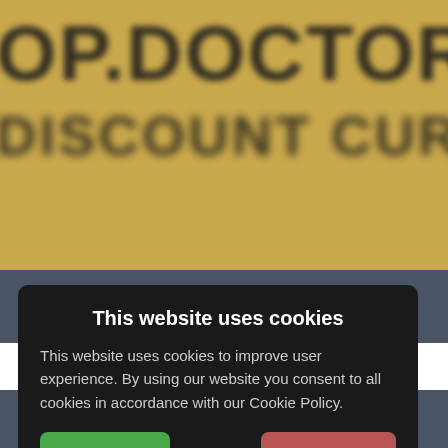[Figure (screenshot): Blurred background showing partial text 'OP.DOCTORWIND' in large bold black letters on golden/tan background, with a second blurred line of text below]
Who we are • Authors • Contact us
🇬🇧 English
This website uses cookies
This website uses cookies to improve user experience. By using our website you consent to all cookies in accordance with our Cookie Policy.
I agree
I disagree
Read more
e-Skin-Malvasia-